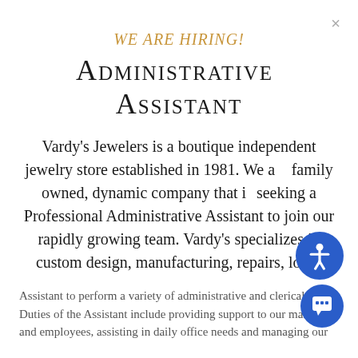WE ARE HIRING!
Administrative Assistant
Vardy's Jewelers is a boutique independent jewelry store established in 1981. We are family owned, dynamic company that is seeking a Professional Administrative Assistant to join our rapidly growing team. Vardy's specializes in custom design, manufacturing, repairs, loose
Assistant to perform a variety of administrative and clerical tasks. Duties of the Assistant include providing support to our managers and employees, assisting in daily office needs and managing our